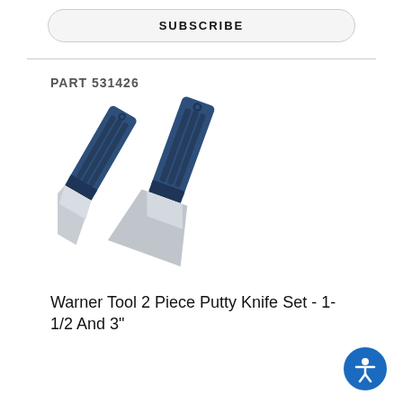SUBSCRIBE
PART 531426
[Figure (photo): Two putty knives with dark blue plastic handles and stainless steel blades, arranged side by side at an angle. One is wider (3 inch) and one is narrower (1-1/2 inch).]
Warner Tool 2 Piece Putty Knife Set - 1-1/2 And 3"